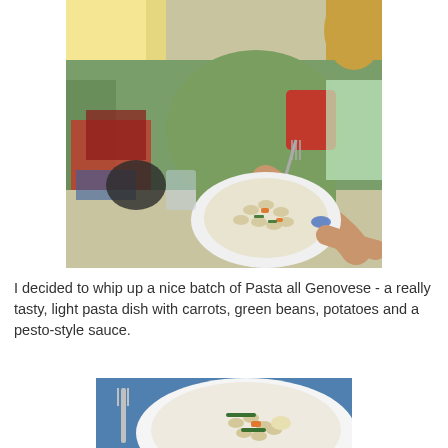[Figure (photo): A woman sitting on a bed/couch with green bedding and colorful pillows, eating pasta from a white plate using a fork. The plate contains pasta with carrots, green beans and sauce.]
I decided to whip up a nice batch of Pasta all Genovese - a really tasty, light pasta dish with carrots, green beans, potatoes and a pesto-style sauce.
[Figure (photo): A close-up of a white plate with pasta, carrots, green beans and potatoes in a pesto-style sauce, with a fork visible on the left side.]